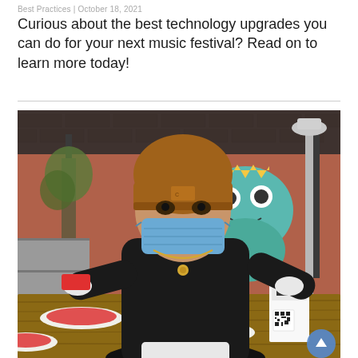Best Practices | October 18, 2021
Curious about the best technology upgrades you can do for your next music festival? Read on to learn more today!
[Figure (photo): A restaurant worker wearing a brown beanie hat, blue surgical mask, black hoodie, gold chain necklace, and white gloves, leaning over a wooden outdoor table. They hold a red phone in one hand and touch a small white QR code menu stand with the other. The table has plates with red food and clear plastic cups. Background shows a brick wall with a colorful frog graffiti mural, an outdoor patio heater, and covered outdoor seating area.]